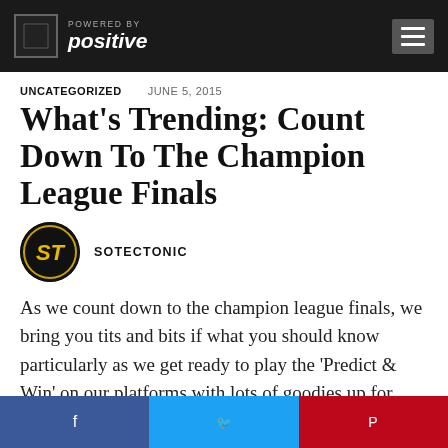POWERED BY positive
UNCATEGORIZED   JUNE 5, 2015
What's Trending: Count Down To The Champion League Finals
SOTECTONIC
As we count down to the champion league finals, we bring you tits and bits if what you should know particularly as we get ready to play the 'Predict & Win' on our platforms with lots of goodies up for grabs.